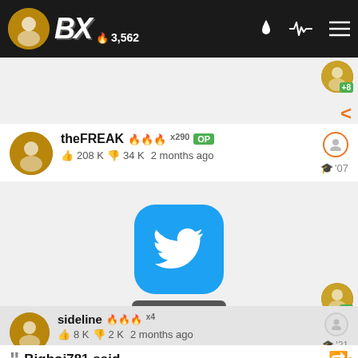BX 3,562
theFREAK x290 OP
👍 208 K  👎 34 K  2 months ago  '07
[Figure (screenshot): Twitter bird logo icon (blue rounded square) with 'view tweet' label below]
sideline x4
👍 8 K  👎 2 K  2 months ago  '21
Bigboi781 said
Would be funny af if Harden got traded for Kyrie